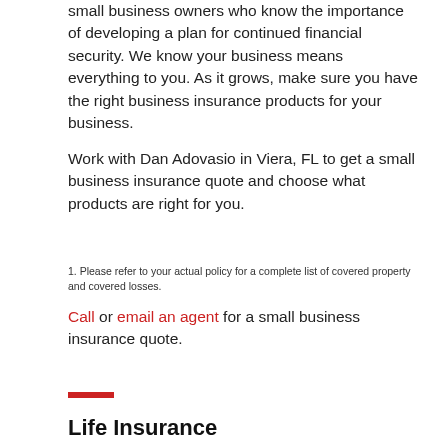small business owners who know the importance of developing a plan for continued financial security. We know your business means everything to you. As it grows, make sure you have the right business insurance products for your business.
Work with Dan Adovasio in Viera, FL to get a small business insurance quote and choose what products are right for you.
1. Please refer to your actual policy for a complete list of covered property and covered losses.
Call or email an agent for a small business insurance quote.
Life Insurance